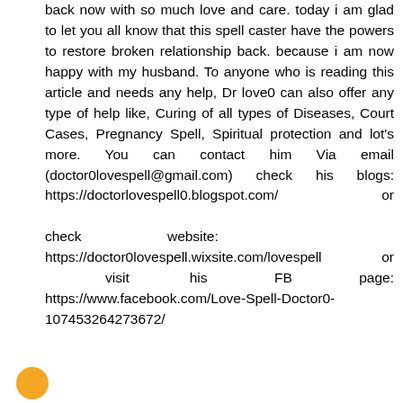back now with so much love and care. today i am glad to let you all know that this spell caster have the powers to restore broken relationship back. because i am now happy with my husband. To anyone who is reading this article and needs any help, Dr love0 can also offer any type of help like, Curing of all types of Diseases, Court Cases, Pregnancy Spell, Spiritual protection and lot's more. You can contact him Via email (doctor0lovespell@gmail.com) check his blogs: https://doctorlovespell0.blogspot.com/ or check website: https://doctor0lovespell.wixsite.com/lovespell or visit his FB page: https://www.facebook.com/Love-Spell-Doctor0-107453264273672/
[Figure (illustration): Partial orange/yellow circular avatar icon at bottom left corner]